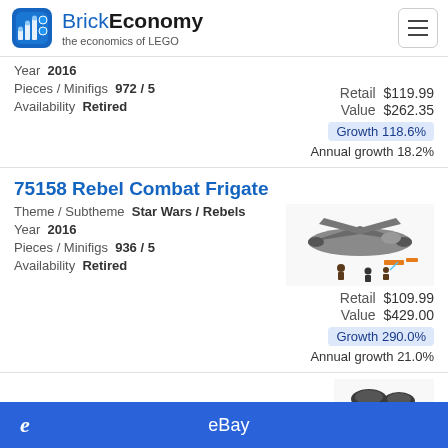BrickEconomy – the economics of LEGO
Year 2016
Pieces / Minifigs 972 / 5
Availability Retired
Retail $119.99
Value $262.35
Growth 118.6%
Annual growth 18.2%
75158 Rebel Combat Frigate
Theme / Subtheme Star Wars / Rebels
Year 2016
Pieces / Minifigs 936 / 5
Availability Retired
Retail $109.99
Value $429.00
Growth 290.0%
Annual growth 21.0%
eBay